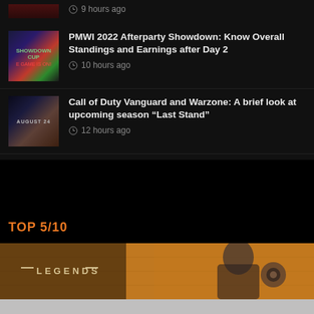9 hours ago
PMWI 2022 Afterparty Showdown: Know Overall Standings and Earnings after Day 2
10 hours ago
Call of Duty Vanguard and Warzone: A brief look at upcoming season “Last Stand”
12 hours ago
TOP 5/10
[Figure (photo): Apex Legends promotional banner showing a character with mechanical arm and the word LEGENDS]